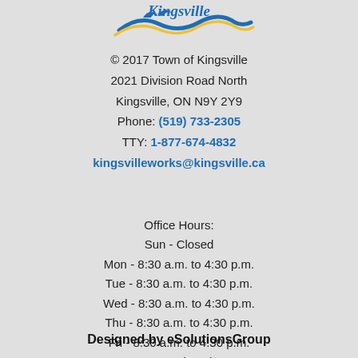[Figure (logo): Town of Kingsville logo with blue wave and bird silhouette and cursive 'Kingsville' text]
© 2017 Town of Kingsville
2021 Division Road North
Kingsville, ON N9Y 2Y9
Phone: (519) 733-2305
TTY: 1-877-674-4832
kingsvilleworks@kingsville.ca
Office Hours:
Sun - Closed
Mon - 8:30 a.m. to 4:30 p.m.
Tue - 8:30 a.m. to 4:30 p.m.
Wed - 8:30 a.m. to 4:30 p.m.
Thu - 8:30 a.m. to 4:30 p.m.
Fri - 8:30 a.m. to 4:30 p.m.
Sat - Closed
Designed by eSolutionsGroup